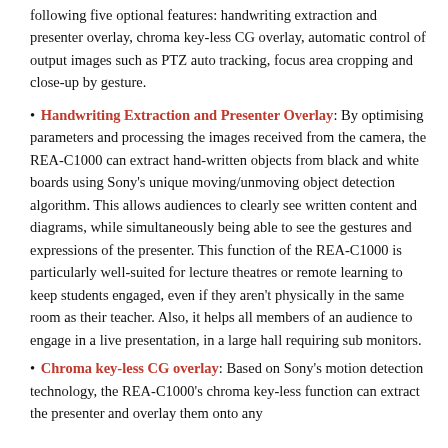following five optional features: handwriting extraction and presenter overlay, chroma key-less CG overlay, automatic control of output images such as PTZ auto tracking, focus area cropping and close-up by gesture.
• Handwriting Extraction and Presenter Overlay: By optimising parameters and processing the images received from the camera, the REA-C1000 can extract hand-written objects from black and white boards using Sony's unique moving/unmoving object detection algorithm. This allows audiences to clearly see written content and diagrams, while simultaneously being able to see the gestures and expressions of the presenter. This function of the REA-C1000 is particularly well-suited for lecture theatres or remote learning to keep students engaged, even if they aren't physically in the same room as their teacher. Also, it helps all members of an audience to engage in a live presentation, in a large hall requiring sub monitors.
• Chroma key-less CG overlay: Based on Sony's motion detection technology, the REA-C1000's chroma key-less function can extract the presenter and overlay them onto any